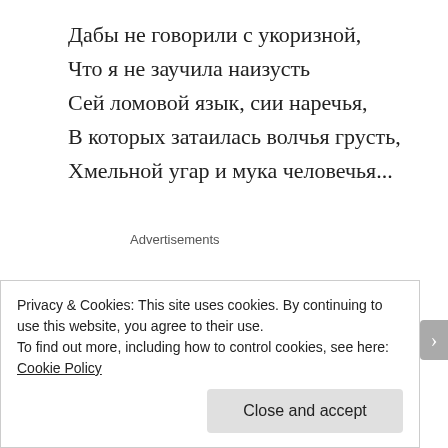Дабы не говорили с укоризной,
Что я не заучила наизусть
Сей ломовой язык, сии наречья,
В которых затаилась волчья грусть,
Хмельной угар и мука человечья...
Advertisements
Additional information: There is little information about her it seems. Boris Dralyuk recently did a
Privacy & Cookies: This site uses cookies. By continuing to use this website, you agree to their use.
To find out more, including how to control cookies, see here: Cookie Policy